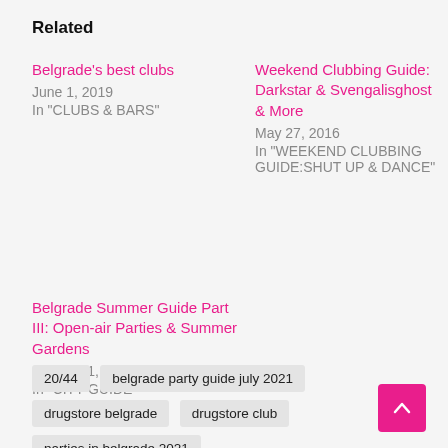Related
Belgrade's best clubs
June 1, 2019
In "CLUBS & BARS"
Weekend Clubbing Guide: Darkstar & Svengalisghost & More
May 27, 2016
In "WEEKEND CLUBBING GUIDE:SHUT UP & DANCE"
Belgrade Summer Guide Part III: Open-air Parties & Summer Gardens
August 21, 2022
In "CITY GUIDE"
20/44
belgrade party guide july 2021
drugstore belgrade
drugstore club
parties in belgrade 2021